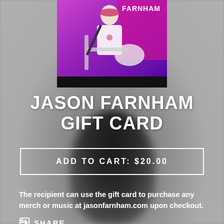[Figure (photo): Photo of guitarist (Jason Farnham) playing electric guitar on a purple/magenta-lit stage, with FARNHAM text in top right corner and a dark strip at the bottom]
JASON FARNHAM GIFT CARD
ADD TO CART: $20.00
The recipient can use the gift card to purchase any merch or music at jasonfarnham.com upon checkout.
SHARE